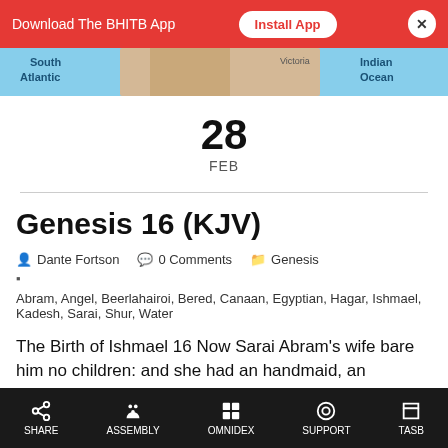[Figure (screenshot): Red app download banner with 'Download The BHITB App' text, 'Install App' button, and close X button]
[Figure (map): Partial map strip showing South Atlantic, Indian Ocean labels with blue and tan land/water colors]
28
FEB
Genesis 16 (KJV)
Dante Fortson   0 Comments   Genesis
Abram, Angel, Beerlahairoi, Bered, Canaan, Egyptian, Hagar, Ishmael, Kadesh, Sarai, Shur, Water
The Birth of Ishmael 16 Now Sarai Abram's wife bare him no children: and she had an handmaid, an Egyptian, whose
SHARE   ASSEMBLY   OMNIDEX   SUPPORT   TASB